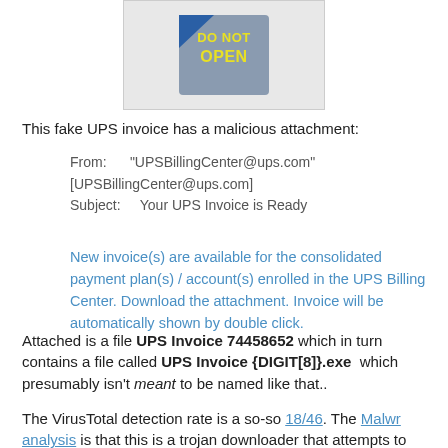[Figure (illustration): A 'Do Not Open' sign graphic with blue diamond shape and yellow text reading 'DO NOT OPEN']
This fake UPS invoice has a malicious attachment:
From:      "UPSBillingCenter@ups.com" [UPSBillingCenter@ups.com]
Subject:      Your UPS Invoice is Ready
New invoice(s) are available for the consolidated payment plan(s) / account(s) enrolled in the UPS Billing Center. Download the attachment. Invoice will be automatically shown by double click.
Attached is a file UPS Invoice 74458652 which in turn contains a file called UPS Invoice {DIGIT[8]}.exe  which presumably isn't meant to be named like that..
The VirusTotal detection rate is a so-so 18/46. The Malwr analysis is that this is a trojan downloader that attempts to